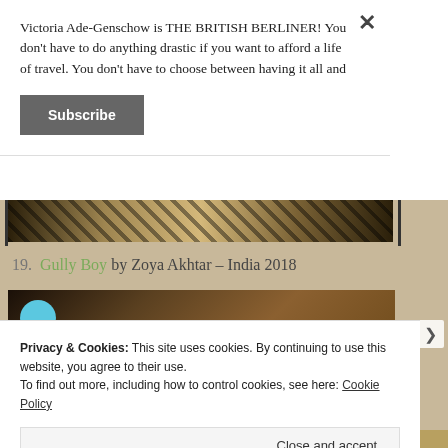Victoria Ade-Genschow is THE BRITISH BERLINER! You don't have to do anything drastic if you want to afford a life of travel. You don't have to choose between having it all and
Subscribe
[Figure (photo): Partial photo strip showing shadowy figures and patterned fabric in sepia/golden tones]
19. Gully Boy by Zoya Akhtar – India 2018
[Figure (screenshot): YouTube video thumbnail for Gully Boy Official Trailer with channel icon]
Privacy & Cookies: This site uses cookies. By continuing to use this website, you agree to their use.
To find out more, including how to control cookies, see here: Cookie Policy
Close and accept